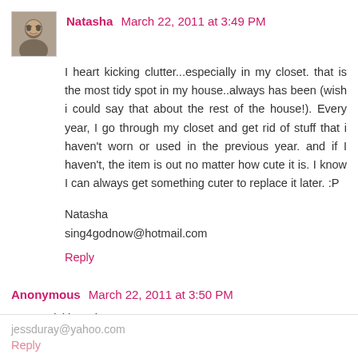[Figure (photo): Small avatar photo of a person with glasses]
Natasha March 22, 2011 at 3:49 PM
I heart kicking clutter...especially in my closet. that is the most tidy spot in my house..always has been (wish i could say that about the rest of the house!). Every year, I go through my closet and get rid of stuff that i haven't worn or used in the previous year. and if I haven't, the item is out no matter how cute it is. I know I can always get something cuter to replace it later. :P
Natasha
sing4godnow@hotmail.com
Reply
Anonymous March 22, 2011 at 3:50 PM
IHeart Kicking Clutter!
jessduray@yahoo.com
Reply